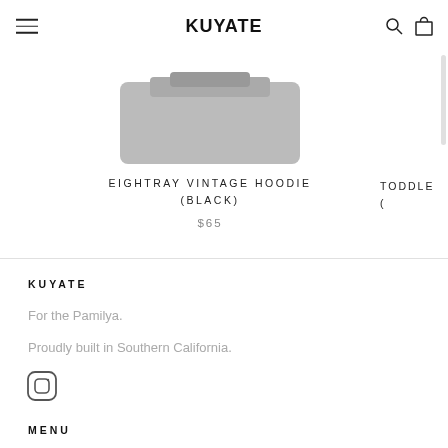KUYATE
[Figure (screenshot): Partial product image of a gray hoodie visible at top center of page]
EIGHTRAY VINTAGE HOODIE (BLACK)
$65
TODDLE
KUYATE
For the Pamilya.
Proudly built in Southern California.
[Figure (logo): Instagram icon (circle with rounded square inside)]
MENU